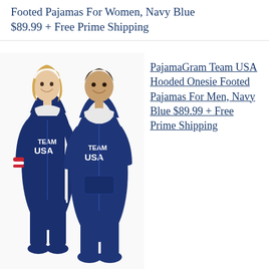Footed Pajamas For Women, Navy Blue $89.99 + Free Prime Shipping
[Figure (photo): Two people wearing navy blue Team USA hooded onesie footed pajamas, walking side by side. The woman is on the left and the man is on the right. Both outfits say TEAM USA on the chest with red and white stripe accents at the cuffs.]
PajamaGram Team USA Hooded Onesie Footed Pajamas For Men, Navy Blue $89.99 + Free Prime Shipping